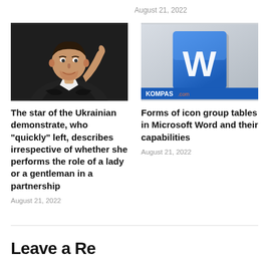August 21, 2022
[Figure (photo): Man pointing finger upward, smiling, wearing black and white patterned shirt, dark background]
The star of the Ukrainian demonstrate, who “quickly” left, describes irrespective of whether she performs the role of a lady or a gentleman in a partnership
August 21, 2022
[Figure (photo): Microsoft Word application icon on a metallic surface, with KOMPAS.com branding banner at bottom]
Forms of icon group tables in Microsoft Word and their capabilities
August 21, 2022
Leave a Reply